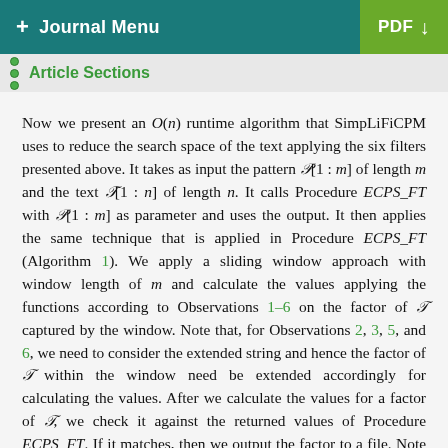+ Journal Menu   PDF ↓
Article Sections
Now we present an O(n) runtime algorithm that SimpLiFiCPM uses to reduce the search space of the text applying the six filters presented above. It takes as input the pattern P[1 : m] of length m and the text T[1 : n] of length n. It calls Procedure ECPS_FT with P[1 : m] as parameter and uses the output. It then applies the same technique that is applied in Procedure ECPS_FT (Algorithm 1). We apply a sliding window approach with window length of m and calculate the values applying the functions according to Observations 1–6 on the factor of T captured by the window. Note that, for Observations 2, 3, 5, and 6, we need to consider the extended string and hence the factor of T within the window need be extended accordingly for calculating the values. After we calculate the values for a factor of T, we check it against the returned values of Procedure ECPS_FT. If it matches, then we output the factor to a file. Note that, in case of overlapping factors (e.g., when the consecutive windows need to output the factors to a file).